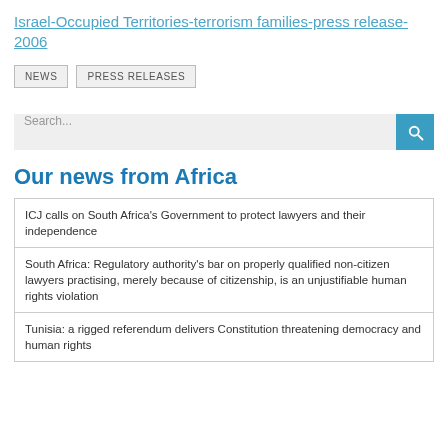Israel-Occupied Territories-terrorism families-press release-2006
NEWS
PRESS RELEASES
Search...
Our news from Africa
ICJ calls on South Africa's Government to protect lawyers and their independence
South Africa: Regulatory authority's bar on properly qualified non-citizen lawyers practising, merely because of citizenship, is an unjustifiable human rights violation
Tunisia: a rigged referendum delivers Constitution threatening democracy and human rights